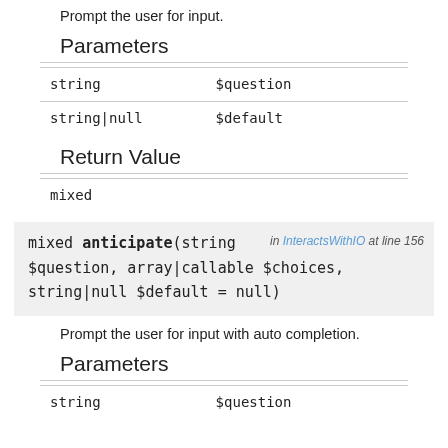Prompt the user for input.
Parameters
| string | $question |
| string|null | $default |
Return Value
| mixed |  |
mixed anticipate(string $question, array|callable $choices, string|null $default = null) in InteractsWithIO at line 156
Prompt the user for input with auto completion.
Parameters
| string | $question |